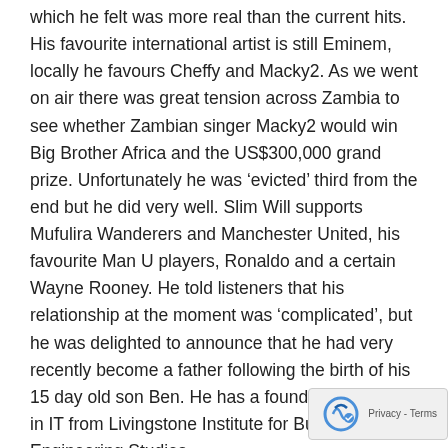which he felt was more real than the current hits. His favourite international artist is still Eminem, locally he favours Cheffy and Macky2. As we went on air there was great tension across Zambia to see whether Zambian singer Macky2 would win Big Brother Africa and the US$300,000 grand prize. Unfortunately he was ‘evicted’ third from the end but he did very well. Slim Will supports Mufulira Wanderers and Manchester United, his favourite Man U players, Ronaldo and a certain Wayne Rooney. He told listeners that his relationship at the moment was ‘complicated’, but he was delighted to announce that he had very recently become a father following the birth of his 15 day old son Ben. He has a foundation diploma in IT from Livingstone Institute for Business and Engineering Studies.
Bwalya advised listeners to put education first ‘so that they knew what they were doing.’ In ten years’ time he hoped t...